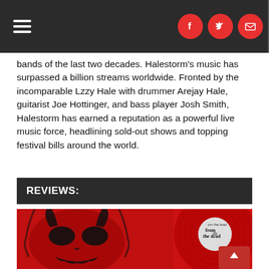Navigation and social icons header
bands of the last two decades. Halestorm's music has surpassed a billion streams worldwide. Fronted by the incomparable Lzzy Hale with drummer Arejay Hale, guitarist Joe Hottinger, and bass player Josh Smith, Halestorm has earned a reputation as a powerful live music force, headlining sold-out shows and topping festival bills around the world.
REVIEWS:
[Figure (photo): Halestorm album cover showing a red background with a dark skull/demon face illustration, alongside a red vinyl record with a label reading 'from the dead']